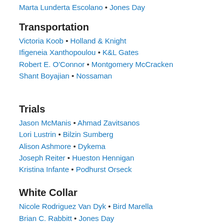Marta Lunderta Escolano • Jones Day
Transportation
Victoria Koob • Holland & Knight
Ifigeneia Xanthopoulou • K&L Gates
Robert E. O'Connor • Montgomery McCracken
Shant Boyajian • Nossaman
Trials
Jason McManis • Ahmad Zavitsanos
Lori Lustrin • Bilzin Sumberg
Alison Ashmore • Dykema
Joseph Reiter • Hueston Hennigan
Kristina Infante • Podhurst Orseck
White Collar
Nicole Rodriguez Van Dyk • Bird Marella
Brian C. Rabbitt • Jones Day